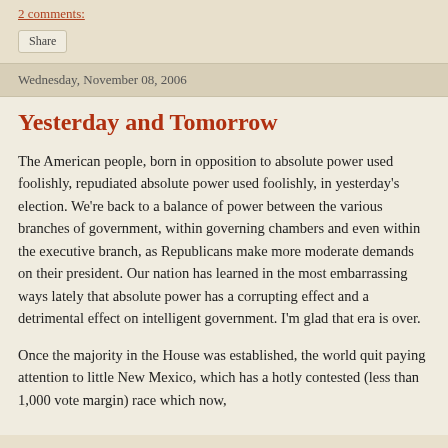2 comments:
Share
Wednesday, November 08, 2006
Yesterday and Tomorrow
The American people, born in opposition to absolute power used foolishly, repudiated absolute power used foolishly, in yesterday's election. We're back to a balance of power between the various branches of government, within governing chambers and even within the executive branch, as Republicans make more moderate demands on their president. Our nation has learned in the most embarrassing ways lately that absolute power has a corrupting effect and a detrimental effect on intelligent government. I'm glad that era is over.
Once the majority in the House was established, the world quit paying attention to little New Mexico, which has a hotly contested (less than 1,000 vote margin) race which now,